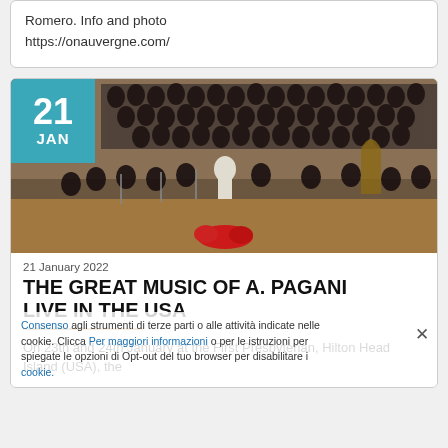Romero. Info and photo https://onauvergne.com/
[Figure (photo): Orchestra and choir performing on stage, conductor visible at center, red flowers at front of stage. Date badge overlay showing 21 JAN in teal.]
21 January 2022
THE GREAT MUSIC OF A. PAGANI LIVE IN THE USA
On 23th and 24th January at the First Presbyterian, Hilton Head Island (USA), the